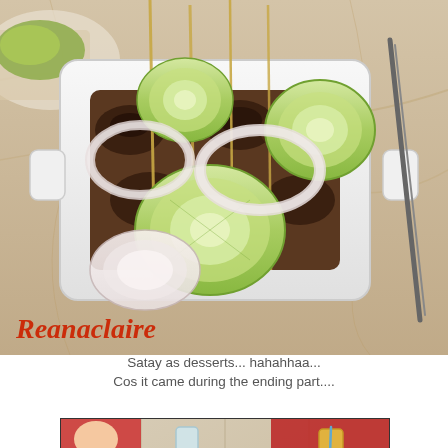[Figure (photo): Close-up photo of satay skewers served in a white rectangular dish with sliced cucumbers and onions on top. Watermark text 'Reanaclaire' in red italic in the bottom-left corner.]
Satay as desserts... hahahhaa...
Cos it came during the ending part....
[Figure (photo): Photo of a round table filled with multiple Chinese dishes: stir-fried greens, dark meat dishes, and various other foods on white plates. People in red shirts are visible around the table.]